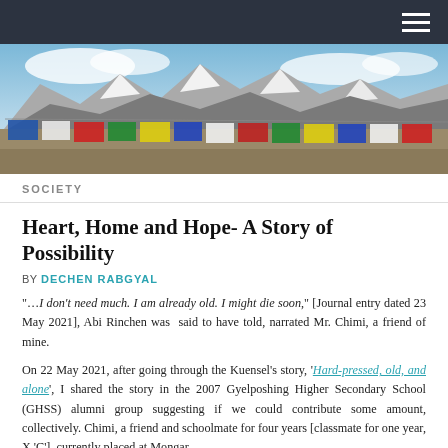[Figure (photo): Panoramic photo of Himalayan mountain peaks with colorful Tibetan prayer flags in the foreground stretching across the width of the image, blue sky with clouds above.]
SOCIETY
Heart, Home and Hope- A Story of Possibility
BY DECHEN RABGYAL
“…I don’t need much. I am already old. I might die soon,” [Journal entry dated 23 May 2021], Abi Rinchen was  said to have told, narrated Mr. Chimi, a friend of mine.
On 22 May 2021, after going through the Kuensel’s story, ‘Hard-pressed, old, and alone’, I shared the story in the 2007 Gyelposhing Higher Secondary School (GHSS) alumni group suggesting if we could contribute some amount, collectively. Chimi, a friend and schoolmate for four years [classmate for one year, X ‘C’], currently placed at Mongar…